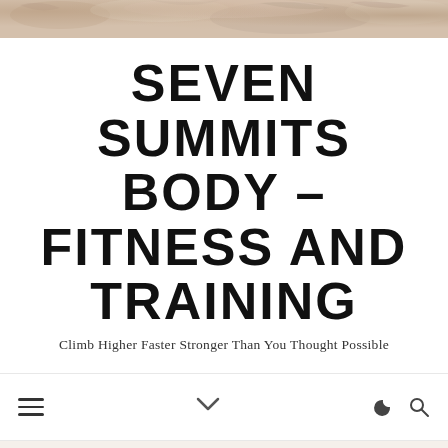[Figure (photo): Decorative header banner with warm earthy tones, floral/nature texture in beige and brown hues]
SEVEN SUMMITS BODY – FITNESS AND TRAINING
Climb Higher Faster Stronger Than You Thought Possible
[Figure (other): Navigation bar with hamburger menu icon on left, chevron/dropdown in center, moon icon and search icon on right]
RUNNING
Vertical K Training: Video